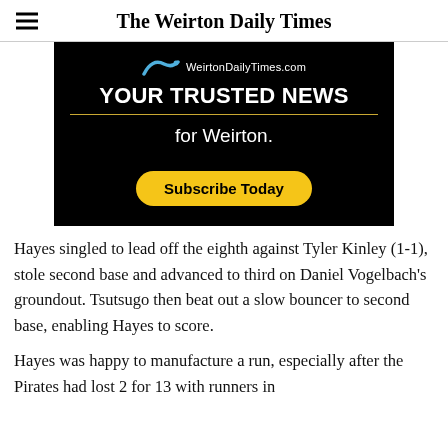The Weirton Daily Times
[Figure (infographic): Advertisement banner for WeirtonDailyTimes.com with black background. Shows logo arc, site URL 'WeirtonDailyTimes.com', bold white text 'YOUR TRUSTED NEWS', gold horizontal line, white text 'for Weirton.', and a yellow pill-shaped button 'Subscribe Today'.]
Hayes singled to lead off the eighth against Tyler Kinley (1-1), stole second base and advanced to third on Daniel Vogelbach’s groundout. Tsutsugo then beat out a slow bouncer to second base, enabling Hayes to score.
Hayes was happy to manufacture a run, especially after the Pirates had lost 2 for 13 with runners in